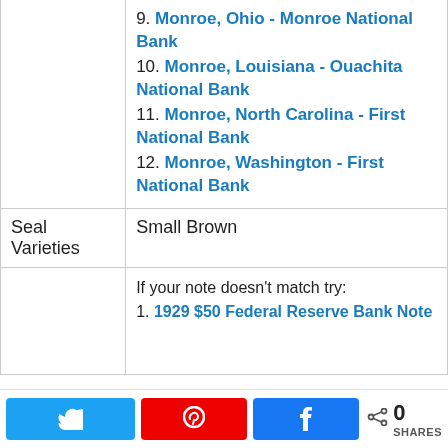|  |  |
| --- | --- |
|  | 9. Monroe, Ohio - Monroe National Bank
10. Monroe, Louisiana - Ouachita National Bank
11. Monroe, North Carolina - First National Bank
12. Monroe, Washington - First National Bank |
| Seal Varieties | Small Brown |
|  | If your note doesn't match try:
1. 1929 $50 Federal Reserve Bank Note |
0 SHARES